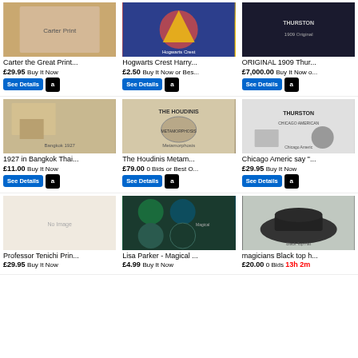[Figure (screenshot): eBay search results page showing magic/novelty items in a 3-column grid layout]
Carter the Great Print... £29.95 Buy It Now
Hogwarts Crest Harry... £2.50 Buy It Now or Bes...
ORIGINAL 1909 Thur... £7,000.00 Buy It Now o...
1927 in Bangkok Thai... £11.00 Buy It Now
The Houdinis Metam... £79.00 0 Bids or Best O...
Chicago Americ say "... £29.95 Buy It Now
Professor Tenichi Prin... £29.95 Buy It Now
Lisa Parker - Magical ... £4.99 Buy It Now
magicians Black top h... £20.00 0 Bids 13h 2m